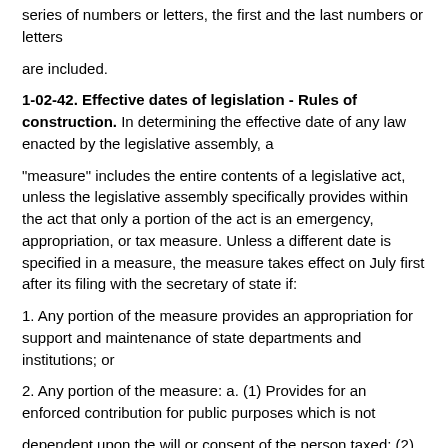series of numbers or letters, the first and the last numbers or letters
are included.
1-02-42. Effective dates of legislation - Rules of construction.
In determining the effective date of any law enacted by the legislative assembly, a
"measure" includes the entire contents of a legislative act, unless the legislative assembly specifically provides within the act that only a portion of the act is an emergency, appropriation, or tax measure. Unless a different date is specified in a measure, the measure takes effect on July first after its filing with the secretary of state if:
1. Any portion of the measure provides an appropriation for support and maintenance of state departments and institutions; or
2. Any portion of the measure: a. (1) Provides for an enforced contribution for public purposes which is not
dependent upon the will or consent of the person taxed; (2) Imposes a fee for any purpose; or (3) Authorizes a public official or entity to determine the level of a fee for any